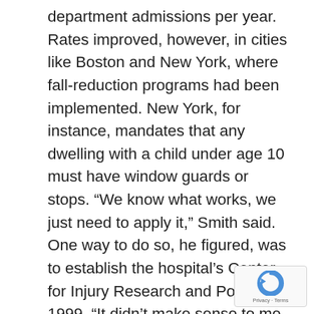department admissions per year. Rates improved, however, in cities like Boston and New York, where fall-reduction programs had been implemented. New York, for instance, mandates that any dwelling with a child under age 10 must have window guards or stops. “We know what works, we just need to apply it,” Smith said. One way to do so, he figured, was to establish the hospital’s Center for Injury Research and Policy in 1999. “It didn’t make sense to me, to continue to treat these (pediatric) injuries, when prevention was a much better solution,” he said. The center’s goal is to spearhead accident prevention through a combination of research, education, and community involvement. In addition the center-sponsored research, literature for parents is offered on the center’s website, and it sponsors community events, such as bike-helmet handouts. Smith and his colleagues have also been involved at both the local and state level, supporting,